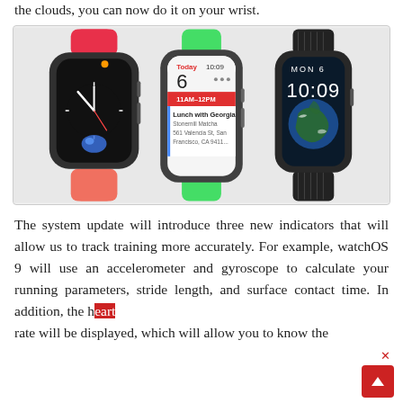the clouds, you can now do it on your wrist.
[Figure (photo): Three Apple Watch Series 7 models side by side. Left watch has a pink/red sport loop band showing a dark watch face with analog clock hands and Siri. Middle watch has a green band showing a calendar app with 'Today 10:09', date '6', event '11AM-12PM Lunch with Georgia at Stonemill Matcha, 561 Valencia St, San Francisco, CA 9411...'. Right watch has a black leather link band showing a dark watch face with 'MON 6' and '10:09' and an Earth image.]
The system update will introduce three new indicators that will allow us to track training more accurately. For example, watchOS 9 will use an accelerometer and gyroscope to calculate your running parameters, stride length, and surface contact time. In addition, the heart rate will be displayed, which will allow you to know the